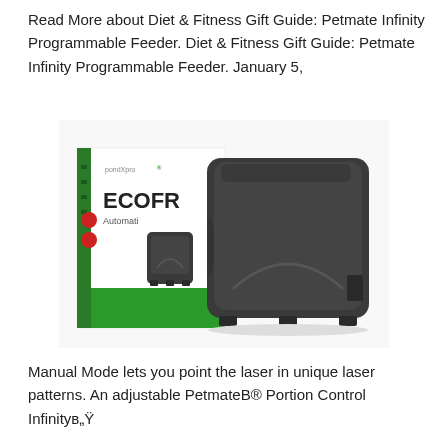Read More about Diet & Fitness Gift Guide: Petmate Infinity Programmable Feeder. Diet & Fitness Gift Guide: Petmate Infinity Programmable Feeder. January 5,
[Figure (photo): Product photo of a PondXpert EcoFree Automatic pond pump/feeder device shown next to its retail packaging box. The device is a dark grey/black compact unit. The box shows green branding with 'pondXpro' logo, 'ECOFR...' text and 'Automatic' text visible.]
Manual Mode lets you point the laser in unique laser patterns. An adjustable PetmateB® Portion Control Infinityв„ÿ